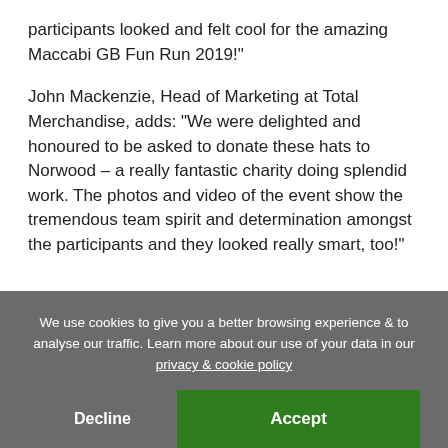participants looked and felt cool for the amazing Maccabi GB Fun Run 2019!"
John Mackenzie, Head of Marketing at Total Merchandise, adds: "We were delighted and honoured to be asked to donate these hats to Norwood – a really fantastic charity doing splendid work. The photos and video of the event show the tremendous team spirit and determination amongst the participants and they looked really smart, too!"
We use cookies to give you a better browsing experience & to analyse our traffic. Learn more about our use of your data in our privacy & cookie policy
Decline
Accept